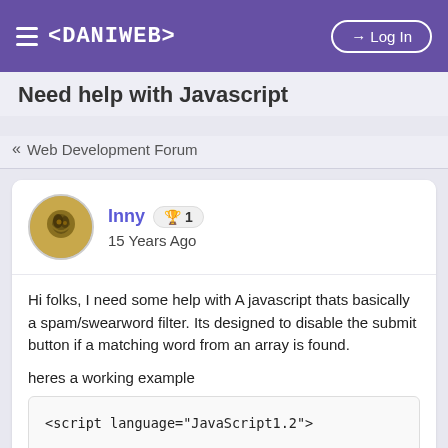≡ <DANIWEB>   → Log In
Need Help with Javascript
« Web Development Forum
Inny 🏆 1
15 Years Ago
Hi folks, I need some help with A javascript thats basically a spam/swearword filter. Its designed to disable the submit button if a matching word from an array is found.

heres a working example
<script language="JavaScript1.2">

// Word Filter